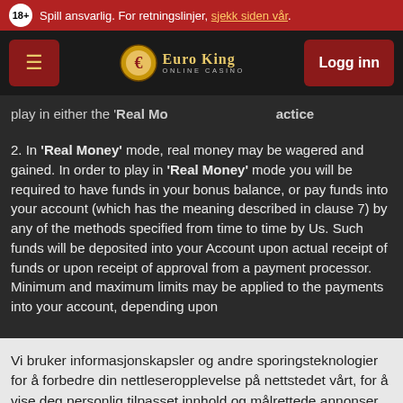Spill ansvarlig. For retningslinjer, sjekk siden vår.
[Figure (logo): Euro King Online Casino logo with navigation bar including menu button and Logg inn button]
play in either the 'Real Mo' ... 'actice
2. In 'Real Money' mode, real money may be wagered and gained. In order to play in 'Real Money' mode you will be required to have funds in your bonus balance, or pay funds into your account (which has the meaning described in clause 7) by any of the methods specified from time to time by Us. Such funds will be deposited into your Account upon actual receipt of funds or upon receipt of approval from a payment processor. Minimum and maximum limits may be applied to the payments into your account, depending upon
Vi bruker informasjonskapsler og andre sporingsteknologier for å forbedre din nettleseropplevelse på nettstedet vårt, for å vise deg personlig tilpasset innhold og målrettede annonser, for å analysere nettstrafikken vår og for å forstå hvor våre besøkende kommer fra.
Endre preferansene mine
Jeg aksepterer